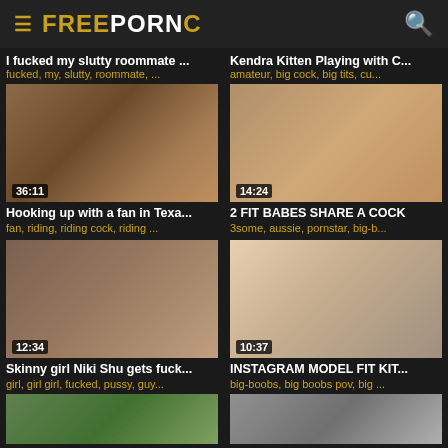FREEPORNC
I fucked my slutty roommate ...
fucked, my, slutty, roommate, ...
Kendra Kitten Playing with C...
amateur, big cock, big tits, cu...
[Figure (photo): Video thumbnail 36:11]
[Figure (photo): Video thumbnail 14:24]
Hooking up with a fan in Texa...
fan, riding, riding cock, riding ...
2 FIT BABES SHARE A COCK
3some, aussie, pornstar, big-b...
[Figure (photo): Video thumbnail 12:34]
[Figure (photo): Video thumbnail 10:37]
Skinny girl Niki Shu gets fuck...
girl, girl girl, fucked, pussy, guy...
INSTAGRAM MODEL FIT KIT...
big-boobs, big boobs pov, big ...
[Figure (photo): Partial video thumbnail bottom left]
[Figure (photo): Partial video thumbnail bottom right]